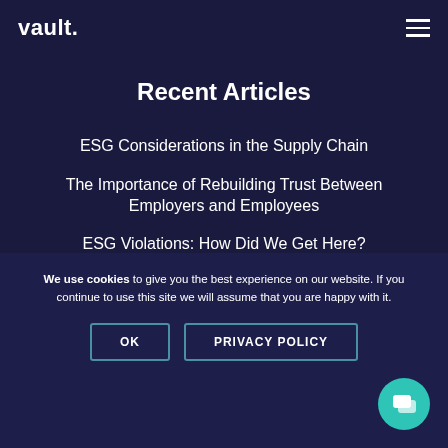vault.
Recent Articles
ESG Considerations in the Supply Chain
The Importance of Rebuilding Trust Between Employers and Employees
ESG Violations: How Did We Get Here?
We use cookies to give you the best experience on our website. If you continue to use this site we will assume that you are happy with it.
OK | PRIVACY POLICY